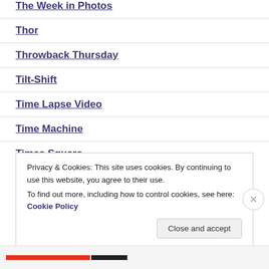The Week in Photos
Thor
Throwback Thursday
Tilt-Shift
Time Lapse Video
Time Machine
Times Square
Privacy & Cookies: This site uses cookies. By continuing to use this website, you agree to their use. To find out more, including how to control cookies, see here: Cookie Policy
Close and accept